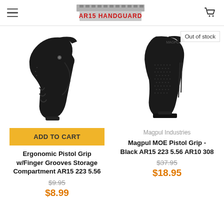AR15 HANDGUARD
[Figure (photo): Ergonomic pistol grip with finger grooves, black polymer, left product card]
[Figure (photo): Magpul MOE pistol grip, black polymer, right product card with Out of stock badge]
ADD TO CART
Out of stock
Ergonomic Pistol Grip w/Finger Grooves Storage Compartment AR15 223 5.56
Magpul Industries
Magpul MOE Pistol Grip - Black AR15 223 5.56 AR10 308
$9.95
$8.99
$37.95
$18.95